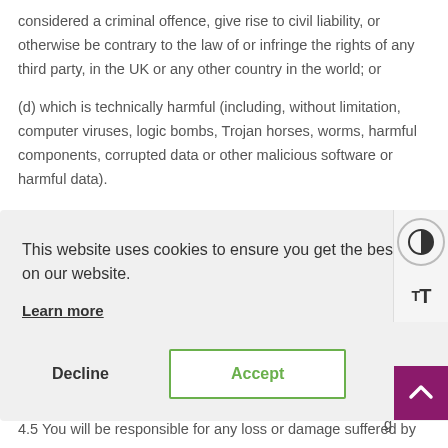considered a criminal offence, give rise to civil liability, or otherwise be contrary to the law of or infringe the rights of any third party, in the UK or any other country in the world; or
(d) which is technically harmful (including, without limitation, computer viruses, logic bombs, Trojan horses, worms, harmful components, corrupted data or other malicious software or harmful data).
[Figure (screenshot): Cookie consent dialog overlay with message 'This website uses cookies to ensure you get the best experience on our website.' with Learn more link, Decline button, and Accept button with green border. A contrast toggle and text size button appear on the right side toolbar. A purple scroll-to-top arrow button appears at lower right.]
4.5 You will be responsible for any loss or damage suffered by